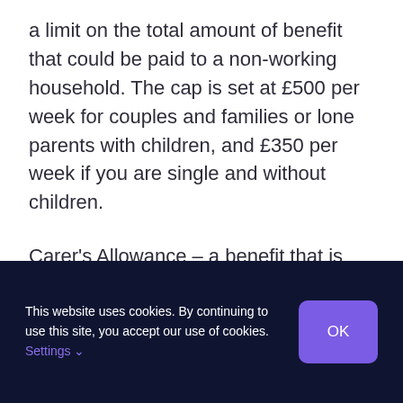a limit on the total amount of benefit that could be paid to a non-working household. The cap is set at £500 per week for couples and families or lone parents with children, and £350 per week if you are single and without children.
Carer's Allowance – a benefit that is given to people who care for someone receiving
This website uses cookies. By continuing to use this site, you accept our use of cookies. Settings ∨